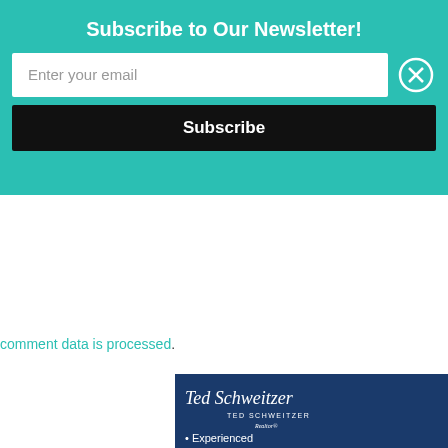Subscribe to Our Newsletter!
Enter your email
Subscribe
comment data is processed.
[Figure (advertisement): Real estate advertisement for Ted Schweitzer, Realtor at Real Estate One. Shows his signature, photo, bullet points 'Experienced' and 'Client Focused', phone number 231-645-5656, and a SOLD sign with Real Estate One logo.]